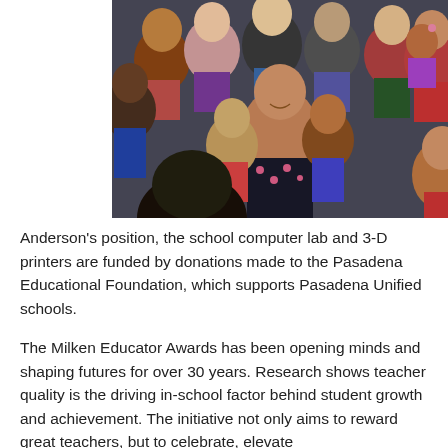[Figure (photo): A smiling female teacher surrounded by a large group of young elementary school children of diverse backgrounds, hugging and crowding around her in a school setting.]
Anderson's position, the school computer lab and 3-D printers are funded by donations made to the Pasadena Educational Foundation, which supports Pasadena Unified schools.
The Milken Educator Awards has been opening minds and shaping futures for over 30 years. Research shows teacher quality is the driving in-school factor behind student growth and achievement. The initiative not only aims to reward great teachers, but to celebrate, elevate